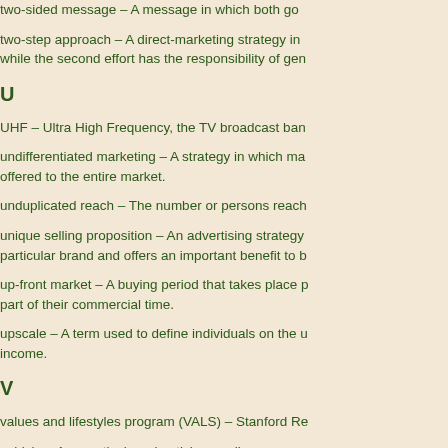two-sided message – A message in which both go...
two-step approach – A direct-marketing strategy in... while the second effort has the responsibility of gen...
U
UHF – Ultra High Frequency, the TV broadcast ban...
undifferentiated marketing – A strategy in which ma... offered to the entire market.
unduplicated reach – The number or persons reach...
unique selling proposition – An advertising strategy... particular brand and offers an important benefit to b...
up-front market – A buying period that takes place p... part of their commercial time.
upscale – A term used to define individuals on the u... income.
V
values and lifestyles program (VALS) – Stanford Re...
vehicle – Any particular advertising medium, e.g., a...
vehicle option source effect – The differential impac... the exposure occurs in one media option rather tha...
vertical cooperative advertising – A cooperative arr... advertising a retailer runs to promote the manufact...